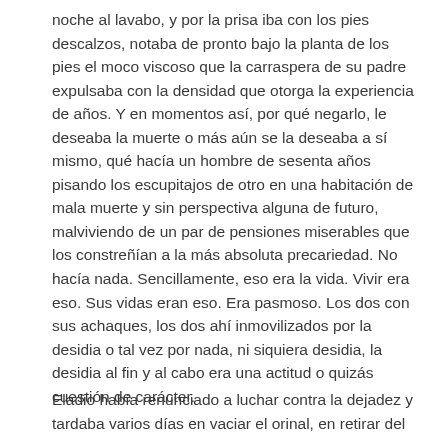noche al lavabo, y por la prisa iba con los pies descalzos, notaba de pronto bajo la planta de los pies el moco viscoso que la carraspera de su padre expulsaba con la densidad que otorga la experiencia de años. Y en momentos así, por qué negarlo, le deseaba la muerte o más aún se la deseaba a sí mismo, qué hacía un hombre de sesenta años pisando los escupitajos de otro en una habitación de mala muerte y sin perspectiva alguna de futuro, malviviendo de un par de pensiones miserables que los constreñían a la más absoluta precariedad. No hacía nada. Sencillamente, eso era la vida. Vivir era eso. Sus vidas eran eso. Era pasmoso. Los dos con sus achaques, los dos ahí inmovilizados por la desidia o tal vez por nada, ni siquiera desidia, la desidia al fin y al cabo era una actitud o quizás cuestión de carácter.
Eladio había renunciado a luchar contra la dejadez y tardaba varios días en vaciar el orinal, en retirar del